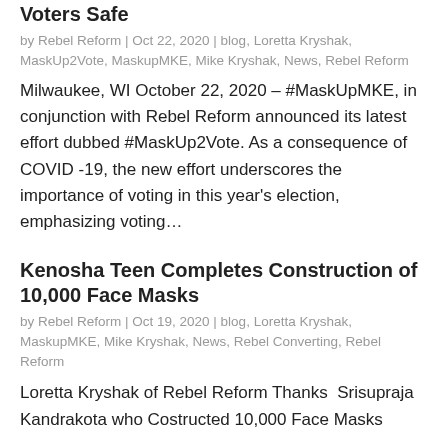Voters Safe
by Rebel Reform | Oct 22, 2020 | blog, Loretta Kryshak, MaskUp2Vote, MaskupMKE, Mike Kryshak, News, Rebel Reform
Milwaukee, WI October 22, 2020 – #MaskUpMKE, in conjunction with Rebel Reform announced its latest effort dubbed #MaskUp2Vote. As a consequence of COVID -19, the new effort underscores the importance of voting in this year's election, emphasizing voting…
Kenosha Teen Completes Construction of 10,000 Face Masks
by Rebel Reform | Oct 19, 2020 | blog, Loretta Kryshak, MaskupMKE, Mike Kryshak, News, Rebel Converting, Rebel Reform
Loretta Kryshak of Rebel Reform Thanks  Srisupraja Kandrakota who Costructed 10,000 Face Masks